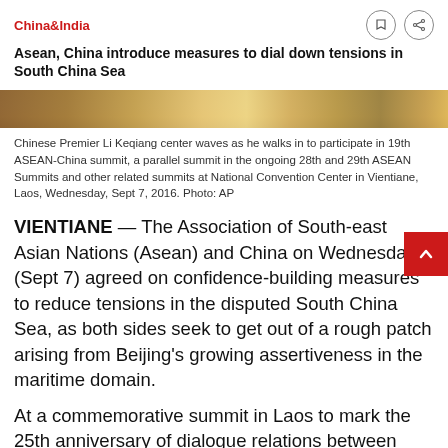China&India
Asean, China introduce measures to dial down tensions in South China Sea
[Figure (photo): Partial view of Chinese Premier Li Keqiang at the 19th ASEAN-China summit, cropped photo strip]
Chinese Premier Li Keqiang center waves as he walks in to participate in 19th ASEAN-China summit, a parallel summit in the ongoing 28th and 29th ASEAN Summits and other related summits at National Convention Center in Vientiane, Laos, Wednesday, Sept 7, 2016. Photo: AP
VIENTIANE — The Association of South-east Asian Nations (Asean) and China on Wednesday (Sept 7) agreed on confidence-building measures to reduce tensions in the disputed South China Sea, as both sides seek to get out of a rough patch arising from Beijing's growing assertiveness in the maritime domain.
At a commemorative summit in Laos to mark the 25th anniversary of dialogue relations between Asean and China, both sides announced that they will set up a communications protocol for unplanned encounters in the South China Sea as well as a hotline among the